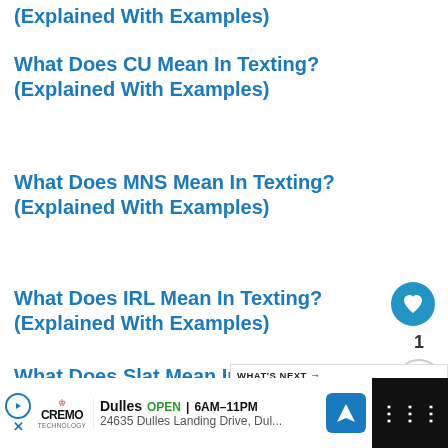(Explained With Examples)
What Does CU Mean In Texting? (Explained With Examples)
What Does MNS Mean In Texting? (Explained With Examples)
What Does IRL Mean In Texting? (Explained With Examples)
What Does Slat Mean In Texting? (Explained With Examples)
What Does YOU Mean In Texting? (Explained With Examples)
[Figure (screenshot): WHAT'S NEXT arrow widget showing 'What Does Lil Mean In Rap...' with thumbnail]
[Figure (infographic): Social interaction buttons: heart/like button with count 1, and share button]
[Figure (screenshot): Advertisement bar: CREMO brand, Dulles OPEN 6AM-11PM, 24635 Dulles Landing Drive, navigation icon, and dark side panel]